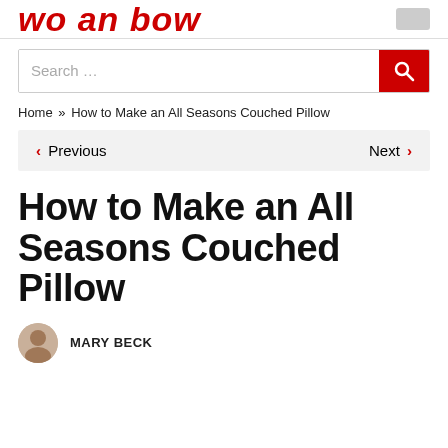wo an bow
[Figure (screenshot): Search bar with red search button]
Home » How to Make an All Seasons Couched Pillow
< Previous    Next >
How to Make an All Seasons Couched Pillow
MARY BECK